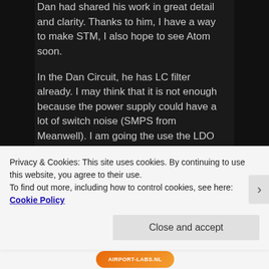Dan had shared his work in great detail and clarity. Thanks to him, I have a way to make STM, I also hope to see Atom soon.
In the Dan Circuit, he has LC filter already. I may think that it is not enough because the power supply could have a lot of switch noise (SMPS from Meanwell). I am going the use the LDO (Low drop regulator) to obtain a low noise voltage .
When the chip arrived, I will update
Privacy & Cookies: This site uses cookies. By continuing to use this website, you agree to their use.
To find out more, including how to control cookies, see here: Cookie Policy